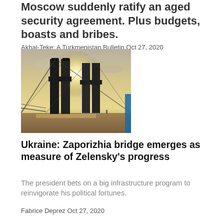Moscow suddenly ratify an aged security agreement. Plus budgets, boasts and bribes.
Akhal-Teke: A Turkmenistan Bulletin Oct 27, 2020
[Figure (photo): Photo of a large suspension bridge structure silhouetted against a bright sky with sunlight behind the pylons, taken from the bridge deck level.]
Ukraine: Zaporizhia bridge emerges as measure of Zelensky's progress
The president bets on a big infrastructure program to reinvigorate his political fortunes.
Fabrice Deprez Oct 27, 2020